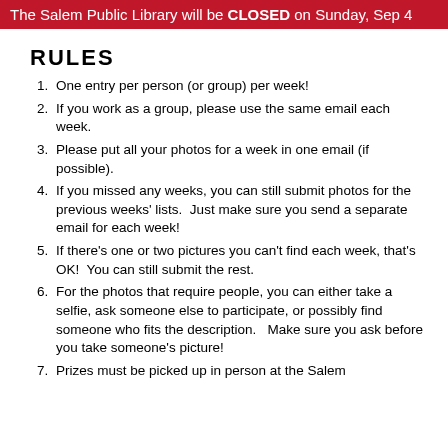The Salem Public Library will be CLOSED on Sunday, Sep 4
RULES
One entry per person (or group) per week!
If you work as a group, please use the same email each week.
Please put all your photos for a week in one email (if possible).
If you missed any weeks, you can still submit photos for the previous weeks' lists.  Just make sure you send a separate email for each week!
If there's one or two pictures you can't find each week, that's OK!  You can still submit the rest.
For the photos that require people, you can either take a selfie, ask someone else to participate, or possibly find someone who fits the description.   Make sure you ask before you take someone's picture!
Prizes must be picked up in person at the Salem